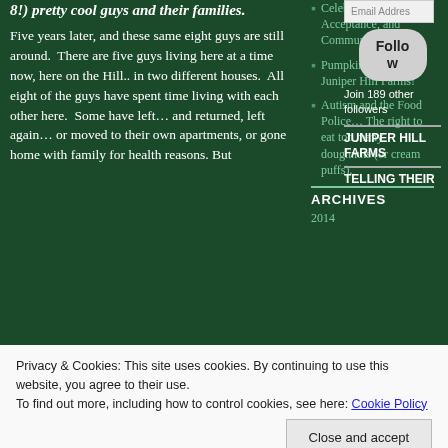8!) pretty cool guys and their families.
Five years later, and these same eight guys are still around.  There are five guys living here at a time now, here on the Hill.. in two different houses.  All eight of the guys have spent time living with each other here.  Some have left… and returned, left again… or moved to their own apartments, or gone home with family for health reasons. But
Celebrations, Acceptance, and Community Living
Pumpkin time at Juniper Hill Farms!
Autism and the Food Police… The right to eat too many doughnuts (or cream puffs).
[Figure (other): Email Address input field]
[Figure (other): Follow button (rounded rectangle)]
Join 189 other followers
JUNIPER HILL FARMS
ARCHIVES
2014
TELLING THEIR
Privacy & Cookies: This site uses cookies. By continuing to use this website, you agree to their use.
To find out more, including how to control cookies, see here: Cookie Policy
Close and accept
hanging out on market day in the